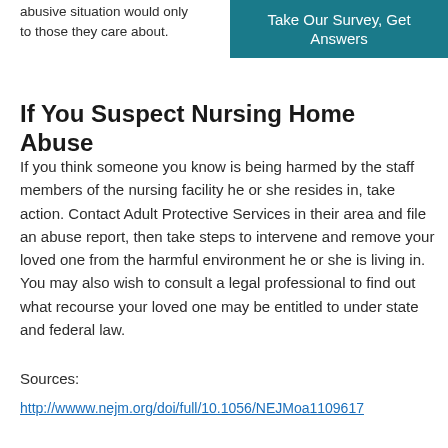abusive situation would only to those they care about.
Take Our Survey, Get Answers
If You Suspect Nursing Home Abuse
If you think someone you know is being harmed by the staff members of the nursing facility he or she resides in, take action. Contact Adult Protective Services in their area and file an abuse report, then take steps to intervene and remove your loved one from the harmful environment he or she is living in. You may also wish to consult a legal professional to find out what recourse your loved one may be entitled to under state and federal law.
Sources:
http://wwww.nejm.org/doi/full/10.1056/NEJMoa1109617